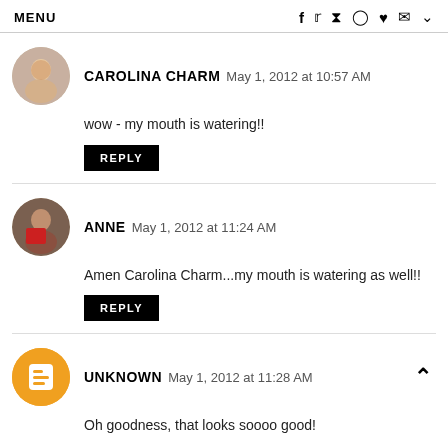MENU  f  t  p  o  ♥  ✉  ˅
CAROLINA CHARM May 1, 2012 at 10:57 AM
wow - my mouth is watering!!
REPLY
ANNE May 1, 2012 at 11:24 AM
Amen Carolina Charm...my mouth is watering as well!!
REPLY
UNKNOWN May 1, 2012 at 11:28 AM
Oh goodness, that looks soooo good!